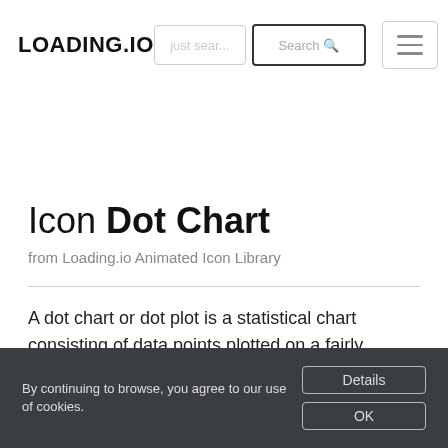LOADING.IO
Icon Dot Chart
from Loading.io Animated Icon Library
A dot chart or dot plot is a statistical chart consisting of data points plotted on a fairly simple scale, typically using
By continuing to browse, you agree to our use of cookies.